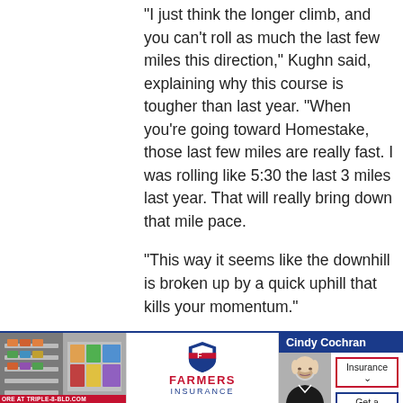“I just think the longer climb, and you can’t roll as much the last few miles this direction,” Kughn said, explaining why this course is tougher than last year. “When you’re going toward Homestake, those last few miles are really fast. I was rolling like 5:30 the last 3 miles last year. That will really bring down that mile pace.
“This way it seems like the downhill is broken up by a quick uphill that kills your momentum.”
Kughn said he was also he was in better shape a year ago.
[Figure (other): Advertisement banner at bottom of page featuring a warehouse/store photo on the left, Farmers Insurance logo in the center, and Cindy Cochran agent info with Insurance and Get a quote buttons on the right.]